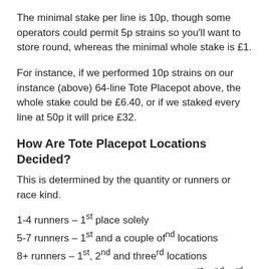The minimal stake per line is 10p, though some operators could permit 5p strains so you'll want to store round, whereas the minimal whole stake is £1.
For instance, if we performed 10p strains on our instance (above) 64-line Tote Placepot above, the whole stake could be £6.40, or if we staked every line at 50p it will price £32.
How Are Tote Placepot Locations Decided?
This is determined by the quantity or runners or race kind.
1-4 runners – 1st place solely
5-7 runners – 1st and a couple ofnd locations
8+ runners – 1st, 2nd and threerd locations
16+ runners (handicap races solely) – 1st, 2nd, 3rd and 4th locations